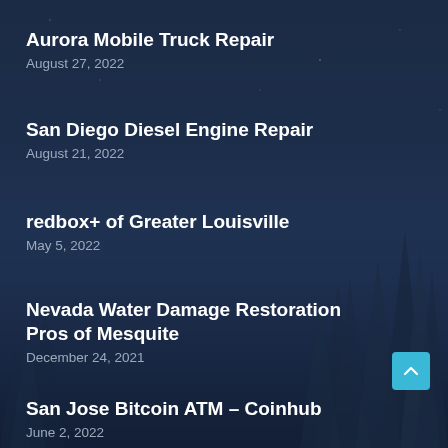Aurora Mobile Truck Repair
August 27, 2022
San Diego Diesel Engine Repair
August 21, 2022
redbox+ of Greater Louisville
May 5, 2022
Nevada Water Damage Restoration Pros of Mesquite
December 24, 2021
San Jose Bitcoin ATM – Coinhub
June 2, 2022